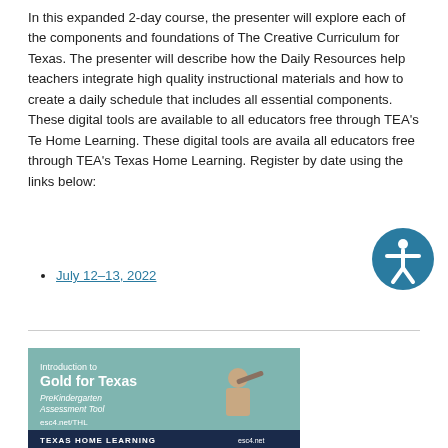In this expanded 2-day course, the presenter will explore each of the components and foundations of The Creative Curriculum for Texas. The presenter will describe how the Daily Resources help teachers integrate high quality instructional materials and how to create a daily schedule that includes all essential components. These digital tools are available to all educators free through TEA's Texas Home Learning. These digital tools are available to all educators free through TEA's Texas Home Learning. Register by date using the links below:
July 12–13, 2022
[Figure (illustration): Banner advertisement for 'Introduction to Gold for Texas - PreKindergarten Assessment Tool' with esc4.net/THL and Texas Home Learning branding. Shows a child looking through a telescope on a teal/muted background.]